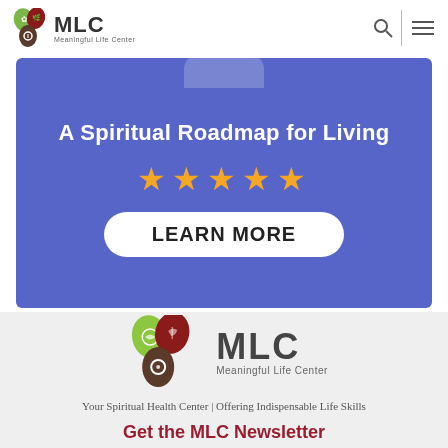MLC Meaningful Life Center
[Figure (screenshot): Promotional banner with blue background showing 'A Spiritual Roadmap for Living', five gold stars, and a LEARN MORE button]
[Figure (logo): Meaningful Life Center logo with three leaf/drop icons (green, maroon, brown) and MLC text with 'Meaningful Life Center' subtitle]
Your Spiritual Health Center | Offering Indispensable Life Skills
Get the MLC Newsletter